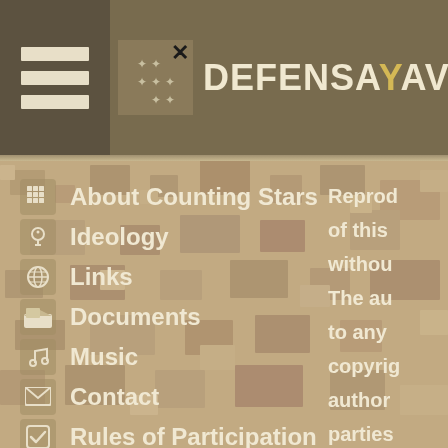DEFENSAYAVIAC
About Counting Stars
Ideology
Links
Documents
Music
Contact
Rules of Participation
Reprod of this withou The au to any copyrig author parties conten